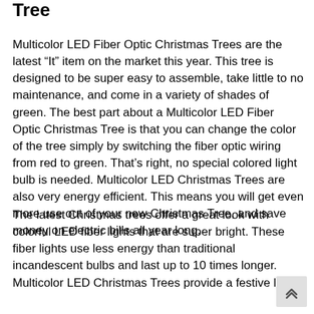Tree
Multicolor LED Fiber Optic Christmas Trees are the latest “It” item on the market this year. This tree is designed to be super easy to assemble, take little to no maintenance, and come in a variety of shades of green. The best part about a Multicolor LED Fiber Optic Christmas Tree is that you can change the color of the tree simply by switching the fiber optic wiring from red to green. That’s right, no special colored light bulb is needed. Multicolor LED Christmas Trees are also very energy efficient. This means you will get even more use out of your new Christmas Tree, and save money on electric bills all year long.
The latest Christmas trees offer a great look with colorful LED fiber lights that are super bright. These fiber lights use less energy than traditional incandescent bulbs and last up to 10 times longer. Multicolor LED Christmas Trees provide a festive lo